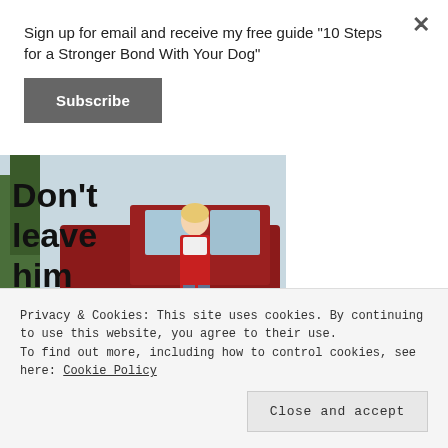Sign up for email and receive my free guide "10 Steps for a Stronger Bond With Your Dog"
Subscribe
[Figure (photo): Woman in red vest standing next to a red pickup truck with a golden retriever dog. Text overlay reads Don't leave him behind.]
Privacy & Cookies: This site uses cookies. By continuing to use this website, you agree to their use. To find out more, including how to control cookies, see here: Cookie Policy
Close and accept